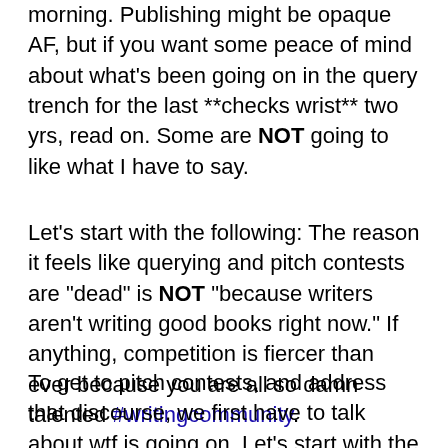morning. Publishing might be opaque AF, but if you want some peace of mind about what's been going on in the query trench for the last **checks wrist** two yrs, read on. Some are NOT going to like what I have to say.
Let's start with the following: The reason it feels like querying and pitch contests are "dead" is NOT "because writers aren't writing good books right now." If anything, competition is fiercer than ever because you are all so damn talented #writingcommunity.
To get to pitch contests, and address that discourse, we first have to talk about wtf is going on. Let's start with the pandemic, and the impact of it. News outlets and organizations them and